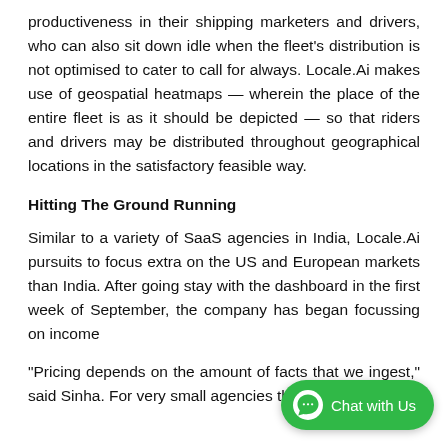productiveness in their shipping marketers and drivers, who can also sit down idle when the fleet's distribution is not optimised to cater to call for always. Locale.Ai makes use of geospatial heatmaps — wherein the place of the entire fleet is as it should be depicted — so that riders and drivers may be distributed throughout geographical locations in the satisfactory feasible way.
Hitting The Ground Running
Similar to a variety of SaaS agencies in India, Locale.Ai pursuits to focus extra on the US and European markets than India. After going stay with the dashboard in the first week of September, the company has began focussing on income
"Pricing depends on the amount of facts that we ingest," said Sinha. For very small agencies that